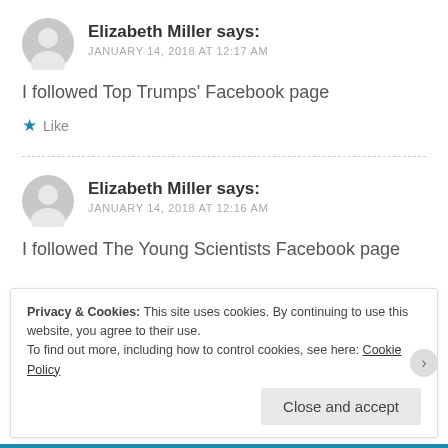Elizabeth Miller says: JANUARY 14, 2018 AT 12:17 AM
I followed Top Trumps' Facebook page
★ Like
Elizabeth Miller says: JANUARY 14, 2018 AT 12:16 AM
I followed The Young Scientists Facebook page
Privacy & Cookies: This site uses cookies. By continuing to use this website, you agree to their use. To find out more, including how to control cookies, see here: Cookie Policy
Close and accept